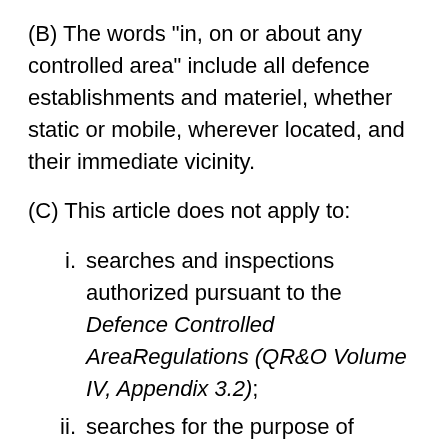(B) The words "in, on or about any controlled area" include all defence establishments and materiel, whether static or mobile, wherever located, and their immediate vicinity.
(C) This article does not apply to:
i. searches and inspections authorized pursuant to the Defence Controlled AreaRegulations (QR&O Volume IV, Appendix 3.2);
ii. searches for the purpose of obtaining evidence of the commission of an offence authorized pursuant to Chapter 106 (see in particular Notes (A),(B) and (C)